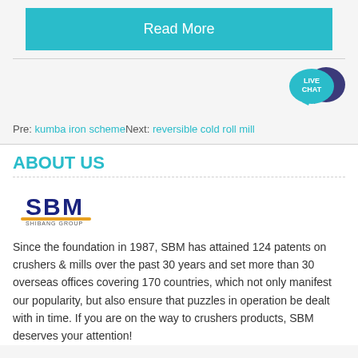Read More
[Figure (illustration): Live Chat speech bubble icon with dark blue and teal colors, text LIVE CHAT inside]
Pre: kumba iron schemeNext: reversible cold roll mill
ABOUT US
[Figure (logo): SBM Shibang Group logo - blue and gold stylized letters SBM with SHIBANG GROUP text below]
Since the foundation in 1987, SBM has attained 124 patents on crushers & mills over the past 30 years and set more than 30 overseas offices covering 170 countries, which not only manifest our popularity, but also ensure that puzzles in operation be dealt with in time. If you are on the way to crushers products, SBM deserves your attention!